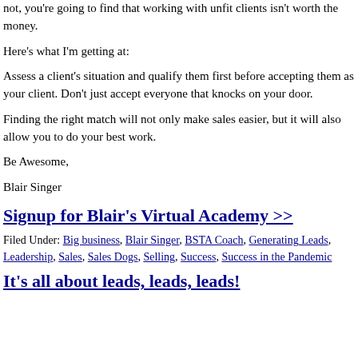not, you're going to find that working with unfit clients isn't worth the money.
Here's what I'm getting at:
Assess a client's situation and qualify them first before accepting them as your client. Don't just accept everyone that knocks on your door.
Finding the right match will not only make sales easier, but it will also allow you to do your best work.
Be Awesome,
Blair Singer
Signup for Blair's Virtual Academy >>
Filed Under: Big business, Blair Singer, BSTA Coach, Generating Leads, Leadership, Sales, Sales Dogs, Selling, Success, Success in the Pandemic
It's all about leads, leads, leads!